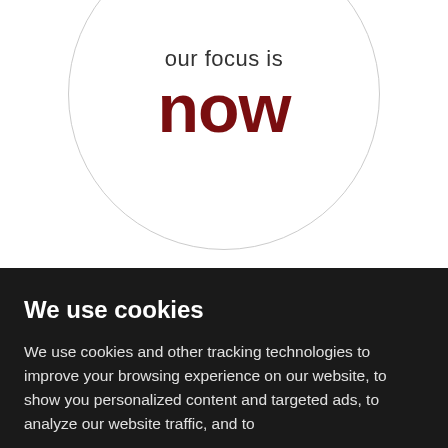[Figure (illustration): A large light gray circle outline on a white background containing the text 'our focus is' in dark gray and 'now' in bold dark red below it]
We use cookies
We use cookies and other tracking technologies to improve your browsing experience on our website, to show you personalized content and targeted ads, to analyze our website traffic, and to